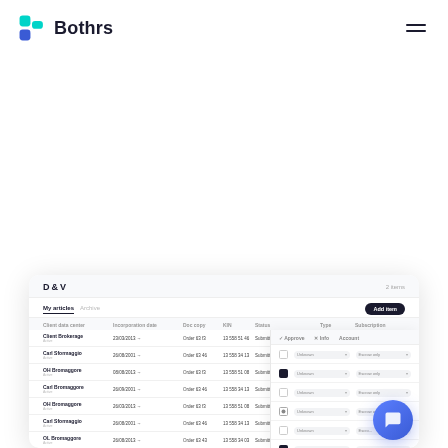[Figure (logo): Bothrs logo: teal and blue B icon with 'Bothrs' wordmark in dark navy]
[Figure (screenshot): Screenshot of Bothrs web app dashboard showing a table of entries with columns for client name, incorporation date, doc type, KIN, status, type, and subscription status. A side panel overlays the right portion showing checkbox and dropdown filter controls. A blue chat bubble appears in the bottom right.]